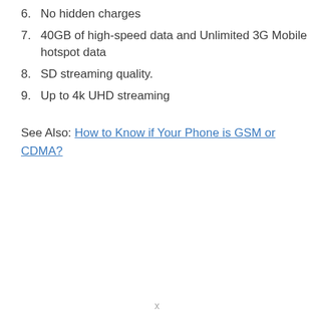6. No hidden charges
7. 40GB of high-speed data and Unlimited 3G Mobile hotspot data
8. SD streaming quality.
9. Up to 4k UHD streaming
See Also: How to Know if Your Phone is GSM or CDMA?